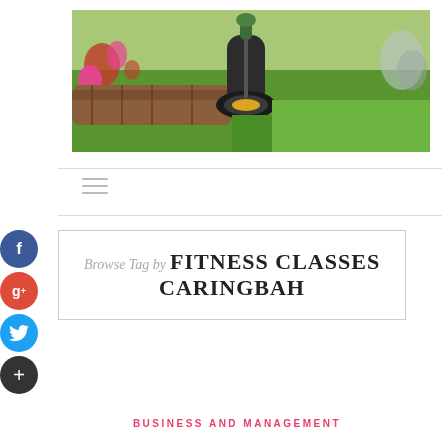[Figure (photo): Close-up photo of a grass trimmer/strimmer on green lawn with flowers and wood in background]
[Figure (illustration): Hamburger menu icon (three horizontal lines)]
Browse Tag by FITNESS CLASSES CARINGBAH
BUSINESS AND MANAGEMENT